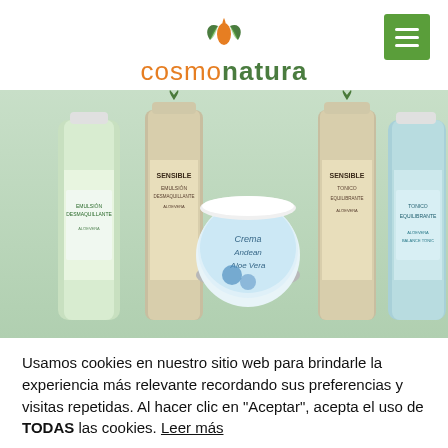[Figure (logo): Cosmonatura brand logo with stylized leaf/droplet icon in green and orange above the brand name]
[Figure (photo): Product photo showing Cosmonatura skincare products: Emulsion Desmaquillante, Sensible creams, Tonico Equilibrante bottles, and a round Crema Andean Aloe Vera jar in the center]
Usamos cookies en nuestro sitio web para brindarle la experiencia más relevante recordando sus preferencias y visitas repetidas. Al hacer clic en "Aceptar", acepta el uso de TODAS las cookies. Leer más